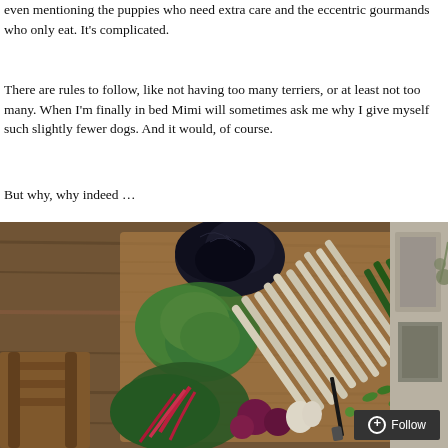even mentioning the puppies who need extra care and the eccentric gourmands who only eat. It's complicated.
There are rules to follow, like not having too many terriers, or at least not too many. When I'm finally in bed Mimi will sometimes ask me why I give myself such slightly fewer dogs. And it would, of course.
But why, why indeed …
[Figure (photo): Overhead/top-down photograph of various fresh vegetables arranged on a wooden cutting board: dark black/purple lettuce, green lettuce leaves, white and green asparagus stalks, Swiss chard with bright pink/red stems, beets, garlic, green peas and pods, and a kitchen knife. A wooden chair is partially visible at the lower left. On the right side, a partial view of a building exterior through a window.]